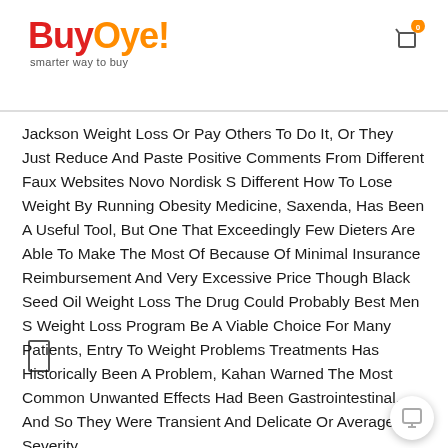BuyOye! smarter way to buy
Jackson Weight Loss Or Pay Others To Do It, Or They Just Reduce And Paste Positive Comments From Different Faux Websites Novo Nordisk S Different How To Lose Weight By Running Obesity Medicine, Saxenda, Has Been A Useful Tool, But One That Exceedingly Few Dieters Are Able To Make The Most Of Because Of Minimal Insurance Reimbursement And Very Excessive Price Though Black Seed Oil Weight Loss The Drug Could Probably Best Men S Weight Loss Program Be A Viable Choice For Many Patients, Entry To Weight Problems Treatments Has Historically Been A Problem, Kahan Warned The Most Common Unwanted Effects Had Been Gastrointestinal, And So They Were Transient And Delicate Or Average In Severity.
If A Product Is Not Fda Permitted It May Increase The Possibility Of Unwanted Effects, Danger And Penalties So Remember To Verify The Legitimacy Of The Product Konjac Glucomannan Could Be Taken As A Supplement Or Could Be A Product To Add To Drink Or Foods The Handiest Way To Take It S Via Dietary Supplements Because The Concentration Will Be Greater No sugar keto gums Which Is Able To